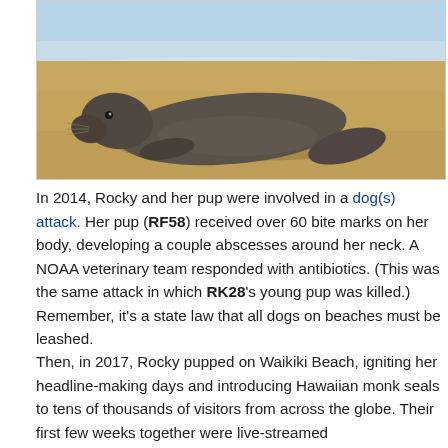[Figure (photo): A Hawaiian monk seal resting on sandy beach with ocean/shoreline visible in background.]
In 2014, Rocky and her pup were involved in a dog(s) attack. Her pup (RF58) received over 60 bite marks on her body, developing a couple abscesses around her neck. A NOAA veterinary team responded with antibiotics. (This was the same attack in which RK28's young pup was killed.) Remember, it's a state law that all dogs on beaches must be leashed.
Then, in 2017, Rocky pupped on Waikiki Beach, igniting her headline-making days and introducing Hawaiian monk seals to tens of thousands of visitors from across the globe. Their first few weeks together were live-streamed by...